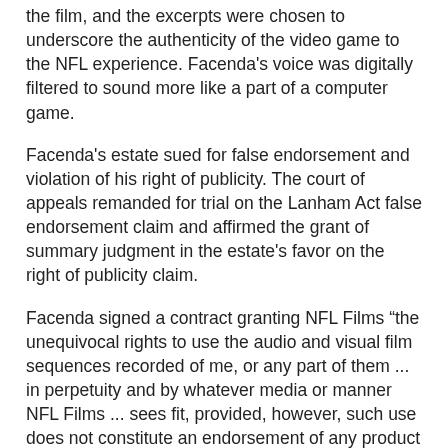the film, and the excerpts were chosen to underscore the authenticity of the video game to the NFL experience. Facenda's voice was digitally filtered to sound more like a part of a computer game.
Facenda's estate sued for false endorsement and violation of his right of publicity. The court of appeals remanded for trial on the Lanham Act false endorsement claim and affirmed the grant of summary judgment in the estate's favor on the right of publicity claim.
Facenda signed a contract granting NFL Films “the unequivocal rights to use the audio and visual film sequences recorded of me, or any part of them ... in perpetuity and by whatever media or manner NFL Films ... sees fit, provided, however, such use does not constitute an endorsement of any product or service.” (I’d think that “does not” was declaratory, not limiting—that is, the use wouldn’t give NFL Films the right to claim that Facenda endorsed the product incorporating the recordings. Otherwise the rights NFL Films got would seem to be hostage to varying consumer perceptions—which was exactly what happened here, and yet not something I’d think they’d have wanted to